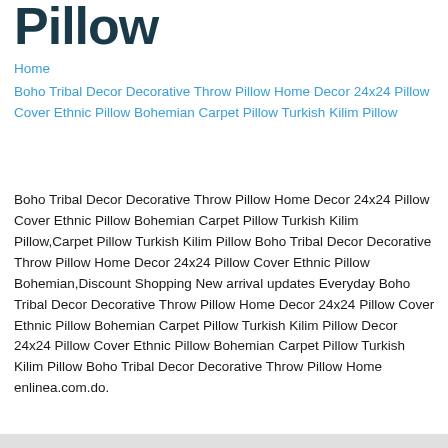Pillow
Home
Boho Tribal Decor Decorative Throw Pillow Home Decor 24x24 Pillow Cover Ethnic Pillow Bohemian Carpet Pillow Turkish Kilim Pillow
Boho Tribal Decor Decorative Throw Pillow Home Decor 24x24 Pillow Cover Ethnic Pillow Bohemian Carpet Pillow Turkish Kilim Pillow,Carpet Pillow Turkish Kilim Pillow Boho Tribal Decor Decorative Throw Pillow Home Decor 24x24 Pillow Cover Ethnic Pillow Bohemian,Discount Shopping New arrival updates Everyday Boho Tribal Decor Decorative Throw Pillow Home Decor 24x24 Pillow Cover Ethnic Pillow Bohemian Carpet Pillow Turkish Kilim Pillow Decor 24x24 Pillow Cover Ethnic Pillow Bohemian Carpet Pillow Turkish Kilim Pillow Boho Tribal Decor Decorative Throw Pillow Home enlinea.com.do.